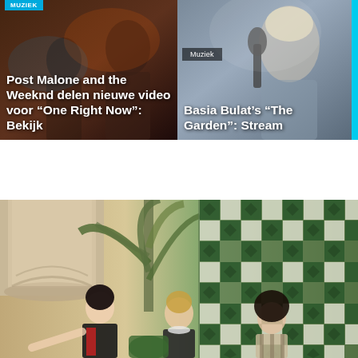[Figure (photo): Post Malone and The Weeknd article card – dark background with figures]
Post Malone and the Weeknd delen nieuwe video voor “One Right Now”: Bekijk
[Figure (photo): Basia Bulat performing on stage with microphone, blonde hair]
Basia Bulat’s “The Garden”: Stream
[Figure (photo): Three young people seated indoors with stone column, tropical plant, and green checkered tile wall in background]